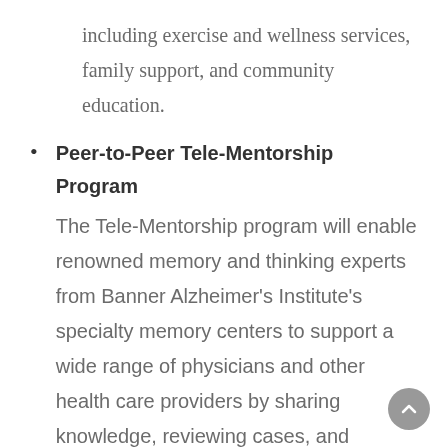including exercise and wellness services, family support, and community education.
Peer-to-Peer Tele-Mentorship Program
The Tele-Mentorship program will enable renowned memory and thinking experts from Banner Alzheimer's Institute's specialty memory centers to support a wide range of physicians and other health care providers by sharing knowledge, reviewing cases, and